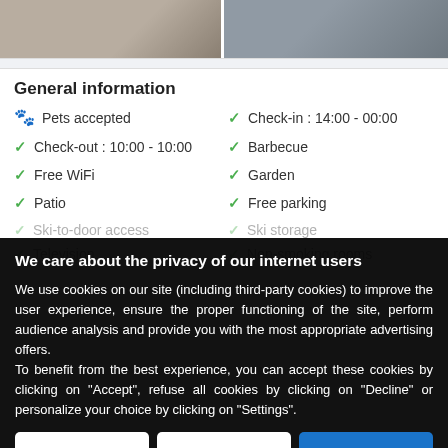[Figure (photo): Two side-by-side interior room photos at the top of the page]
General information
Pets accepted
Check-in : 14:00 - 00:00
Check-out : 10:00 - 10:00
Barbecue
Free WiFi
Garden
Patio
Free parking
Ski-to-door access
Ski storage
Television
Non-smoking rooms
We care about the privacy of our internet users
We use cookies on our site (including third-party cookies) to improve the user experience, ensure the proper functioning of the site, perform audience analysis and provide you with the most appropriate advertising offers.
To benefit from the best experience, you can accept these cookies by clicking on "Accept", refuse all cookies by clicking on "Decline" or personalize your choice by clicking on "Settings".
SETTINGS | Decline | ACCEPT